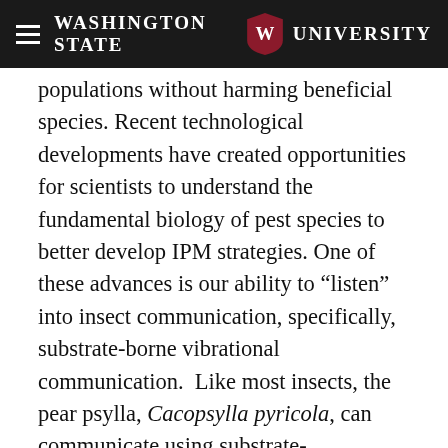Washington State University
populations without harming beneficial species. Recent technological developments have created opportunities for scientists to understand the fundamental biology of pest species to better develop IPM strategies. One of these advances is our ability to “listen” into insect communication, specifically, substrate-borne vibrational communication.  Like most insects, the pear psylla, Cacopsylla pyricola, can communicate using substrate-